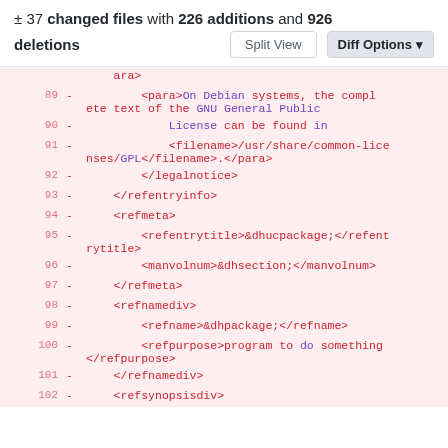± 37 changed files with 226 additions and 926 deletions
[Figure (screenshot): Git diff view showing deleted lines 89-102 of an XML file with red background. Lines show XML tags including para, filename, legalnotice, refentryinfo, refmeta, refentrytitle, manvolnum, refnamediv, refname, refpurpose, refsynopsisdiv.]